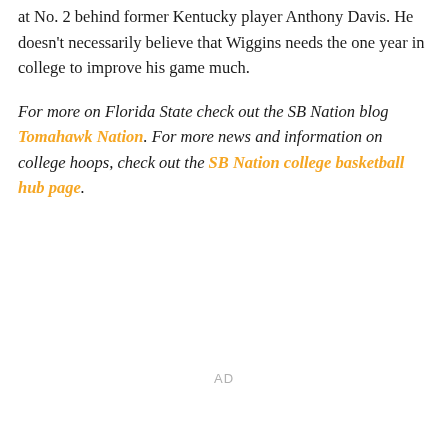at No. 2 behind former Kentucky player Anthony Davis. He doesn't necessarily believe that Wiggins needs the one year in college to improve his game much.
For more on Florida State check out the SB Nation blog Tomahawk Nation. For more news and information on college hoops, check out the SB Nation college basketball hub page.
AD